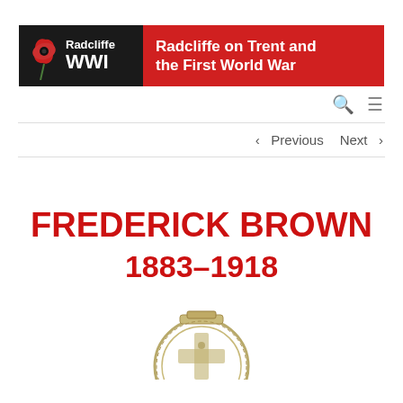[Figure (logo): Radcliffe WWI website header banner with poppy logo on black background left side and red background right side reading 'Radcliffe on Trent and the First World War']
< Previous   Next >
FREDERICK BROWN
1883–1918
[Figure (photo): Partial view of a military medal or badge with ornate design, shown at bottom of page]